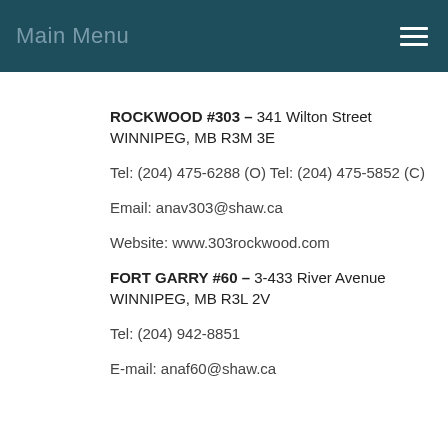Main Menu
ROCKWOOD #303 – 341 Wilton Street WINNIPEG, MB R3M 3E...
Tel: (204) 475-6288 (O) Tel: (204) 475-5852 (C)
Email: anav303@shaw.ca
Website: www.303rockwood.com
FORT GARRY #60 – 3-433 River Avenue WINNIPEG, MB R3L 2V...
Tel: (204) 942-8851
E-mail: anaf60@shaw.ca